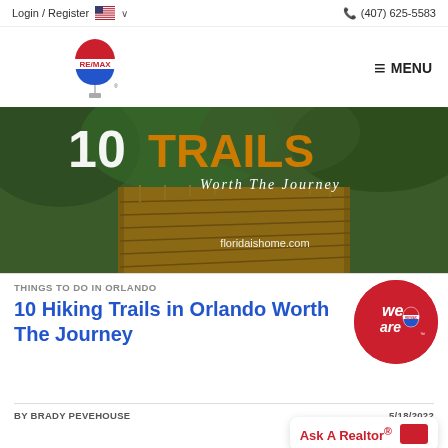Login / Register   (407) 625-5583
[Figure (logo): RE/MAX hot air balloon logo]
MENU
[Figure (photo): Wooden boardwalk trail through lush green forest with text: 10 TRAILS Worth The Journey, floridaishome.com]
THINGS TO DO IN ORLANDO
10 Hiking Trails in Orlando Worth The Journey
[Figure (logo): We Are RE/MAX circular red badge]
Ask A Realtor®
BY BRADY PEVEHOUSE   5/18/2022